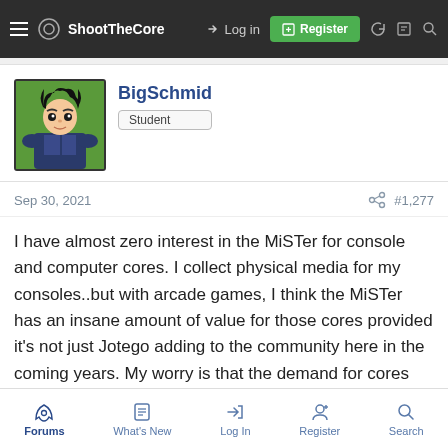ShootTheCore — Log in | Register
[Figure (photo): User avatar showing anime character (Vegeta from Dragon Ball Z)]
BigSchmid
Student
Sep 30, 2021
#1,277
I have almost zero interest in the MiSTer for console and computer cores. I collect physical media for my consoles..but with arcade games, I think the MiSTer has an insane amount of value for those cores provided it's not just Jotego adding to the community here in the coming years. My worry is that the demand for cores and information for arcade enhancements on FPGA can never be met with simple man power. Which sorta leaves me wondering about Pi setups and stuff because there will be a limit to what can be done and then it will be up to us to figure out how best to enjoy the cores
Forums | What's New | Log In | Register | Search